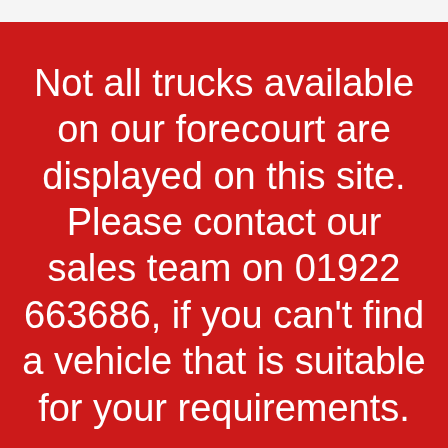Not all trucks available on our forecourt are displayed on this site. Please contact our sales team on 01922 663686, if you can't find a vehicle that is suitable for your requirements.